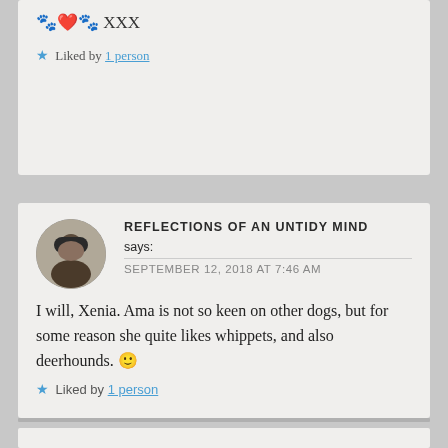🐾❤️🐾 XXX
★ Liked by 1 person
REFLECTIONS OF AN UNTIDY MIND says: SEPTEMBER 12, 2018 AT 7:46 AM
I will, Xenia. Ama is not so keen on other dogs, but for some reason she quite likes whippets, and also deerhounds. 🙂
★ Liked by 1 person